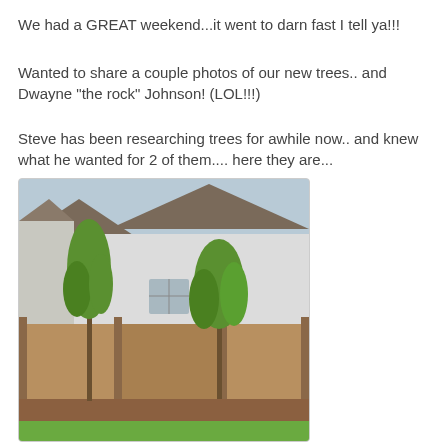We had a GREAT weekend...it went to darn fast I tell ya!!!
Wanted to share a couple photos of our new trees.. and Dwayne "the rock" Johnson! (LOL!!!)
Steve has been researching trees for awhile now.. and knew what he wanted for 2 of them.... here they are...
[Figure (photo): Two young slender trees planted in front of a wooden fence with a white house in the background. Green grass is visible in the foreground and mulch along the fence base.]